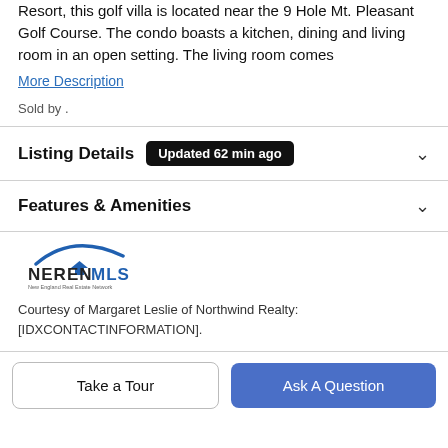Resort, this golf villa is located near the 9 Hole Mt. Pleasant Golf Course. The condo boasts a kitchen, dining and living room in an open setting. The living room comes
More Description
Sold by .
Listing Details  Updated 62 min ago
Features & Amenities
[Figure (logo): NEREN MLS - New England Real Estate Network logo]
Courtesy of Margaret Leslie of Northwind Realty: [IDXCONTACTINFORMATION].
Take a Tour
Ask A Question